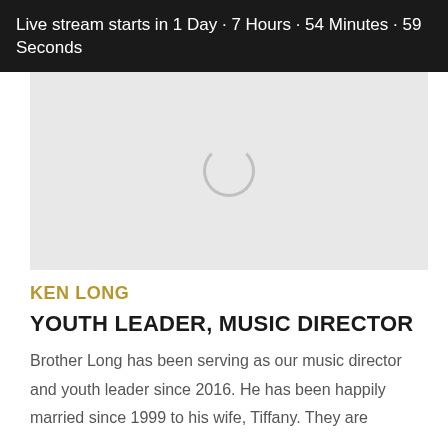Live stream starts in 1 Day · 7 Hours · 54 Minutes · 59 Seconds
[Figure (other): Video player placeholder with loading spinner circle on light grey background]
KEN LONG
YOUTH LEADER, MUSIC DIRECTOR
Brother Long has been serving as our music director and youth leader since 2016. He has been happily married since 1999 to his wife, Tiffany. They are